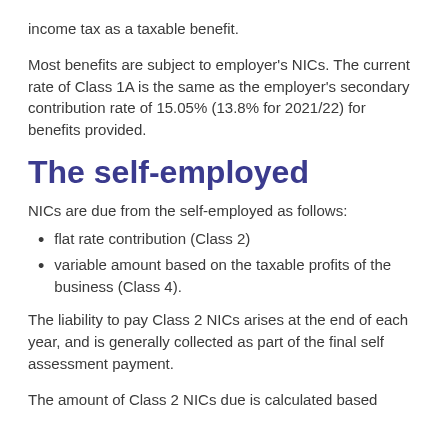income tax as a taxable benefit.
Most benefits are subject to employer's NICs. The current rate of Class 1A is the same as the employer's secondary contribution rate of 15.05% (13.8% for 2021/22) for benefits provided.
The self-employed
NICs are due from the self-employed as follows:
flat rate contribution (Class 2)
variable amount based on the taxable profits of the business (Class 4).
The liability to pay Class 2 NICs arises at the end of each year, and is generally collected as part of the final self assessment payment.
The amount of Class 2 NICs due is calculated based on the number of weeks for self-employment, not the